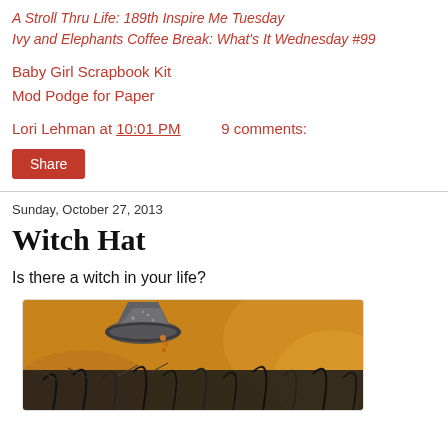A Stroll Thru Life: 189th Inspire Me Tuesday
Ivy and Elephants Coffee Break: What's It Wednesday #99
Baby Girl Scrapbook Kit
Mod Podge for Paper
Lori Lehman at 10:01 PM   9 comments:
Share
Sunday, October 27, 2013
Witch Hat
Is there a witch in your life?
[Figure (photo): A decorative witch hat with dark feathers and metallic/glittery top, photographed close up with orange bokeh background]